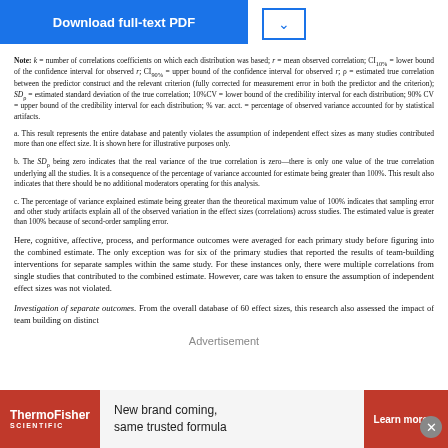Note: k = number of correlations coefficients on which each distribution was based; r = mean observed correlation; CI_10% = lower bound of the confidence interval for observed r; CI_90% = upper bound of the confidence interval for observed r; ρ = estimated true correlation between the predictor construct and the relevant criterion (fully corrected for measurement error in both the predictor and the criterion); SD_ρ = estimated standard deviation of the true correlation; 10%CV = lower bound of the credibility interval for each distribution; 90% CV = upper bound of the credibility interval for each distribution; % var. acct. = percentage of observed variance accounted for by statistical artifacts.
a. This result represents the entire database and patently violates the assumption of independent effect sizes as many studies contributed more than one effect size. It is shown here for illustrative purposes only.
b. The SD_ρ being zero indicates that the real variance of the true correlation is zero—there is only one value of the true correlation underlying all the studies. It is a consequence of the percentage of variance accounted for estimate being greater than 100%. This result also indicates that there should be no additional moderators operating for this analysis.
c. The percentage of variance explained estimate being greater than the theoretical maximum value of 100% indicates that sampling error and other study artifacts explain all of the observed variation in the effect sizes (correlations) across studies. The estimated value is greater than 100% because of second-order sampling error.
Here, cognitive, affective, process, and performance outcomes were averaged for each primary study before figuring into the combined estimate. The only exception was for six of the primary studies that reported the results of team-building interventions for separate samples within the same study. For these instances only, there were multiple correlations from single studies that contributed to the combined estimate. However, care was taken to ensure the assumption of independent effect sizes was not violated.
Investigation of separate outcomes. From the overall database of 60 effect sizes, this research also assessed the impact of team building on distinct